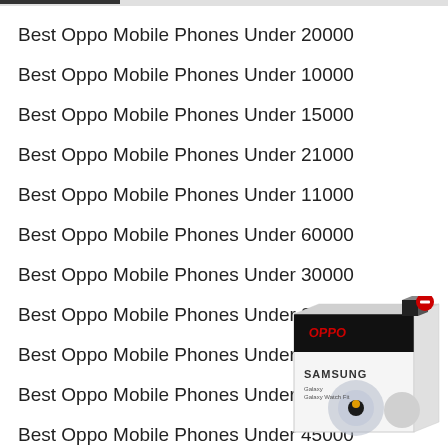Best Oppo Mobile Phones Under 20000
Best Oppo Mobile Phones Under 10000
Best Oppo Mobile Phones Under 15000
Best Oppo Mobile Phones Under 21000
Best Oppo Mobile Phones Under 11000
Best Oppo Mobile Phones Under 60000
Best Oppo Mobile Phones Under 30000
Best Oppo Mobile Phones Under 35000
Best Oppo Mobile Phones Under 40000
Best Oppo Mobile Phones Under 25000
Best Oppo Mobile Phones Under 45000
[Figure (photo): Samsung product box with a smartwatch/ring device visible, with a red minus button icon in the top right corner]